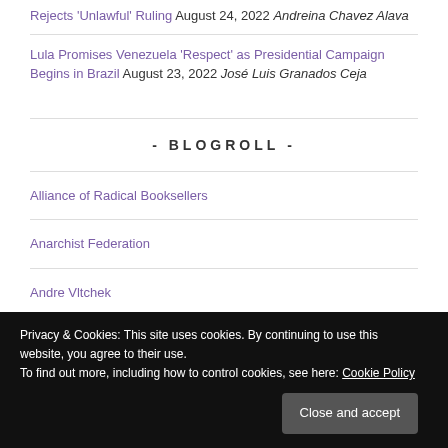Rejects 'Unlawful' Ruling August 24, 2022 Andreina Chavez Alava
Lula Promises Venezuela 'Respect' as Presidential Campaign Begins in Brazil August 23, 2022 José Luis Granados Ceja
- BLOGROLL -
Alliance of Radical Booksellers
Anarchist Federation
Andre Vltchek
Privacy & Cookies: This site uses cookies. By continuing to use this website, you agree to their use. To find out more, including how to control cookies, see here: Cookie Policy